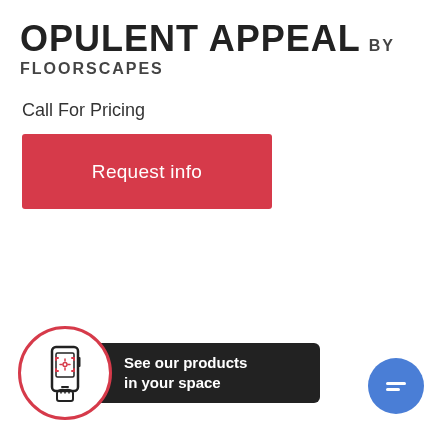OPULENT APPEAL BY FLOORSCAPES
Call For Pricing
Request info
[Figure (infographic): AR widget button with phone/scan icon in a red-outlined circle and dark pill label reading 'See our products in your space']
[Figure (infographic): Blue circular chat button with message lines icon]